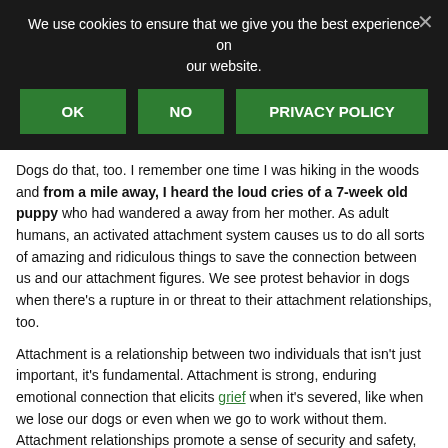[Figure (screenshot): Cookie consent banner with black background, message text, and three green buttons: OK, NO, PRIVACY POLICY, with a close X button in the top right.]
Dogs do that, too. I remember one time I was hiking in the woods and from a mile away, I heard the loud cries of a 7-week old puppy who had wandered a away from her mother. As adult humans, an activated attachment system causes us to do all sorts of amazing and ridiculous things to save the connection between us and our attachment figures. We see protest behavior in dogs when there's a rupture in or threat to their attachment relationships, too.
Attachment is a relationship between two individuals that isn't just important, it's fundamental. Attachment is strong, enduring emotional connection that elicits grief when it's severed, like when we lose our dogs or even when we go to work without them. Attachment relationships promote a sense of security and safety, beyond simple familiarity (Thompson, 2021, p. 21).
Research shows that attachment is a biological imperative; human infants...